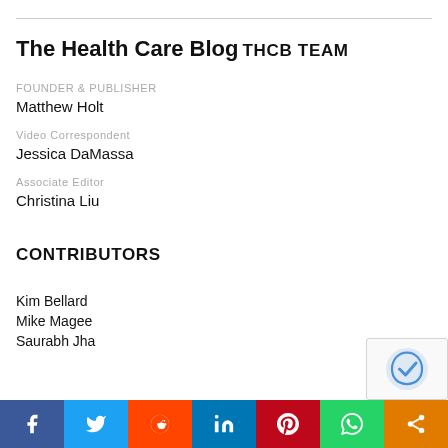The Health Care Blog
THCB TEAM
FOUNDER & PUBLISHER
Matthew Holt
Video Correspondent
Jessica DaMassa
Associate Editor
Christina Liu
CONTRIBUTORS
Kim Bellard
Mike Magee
Saurabh Jha